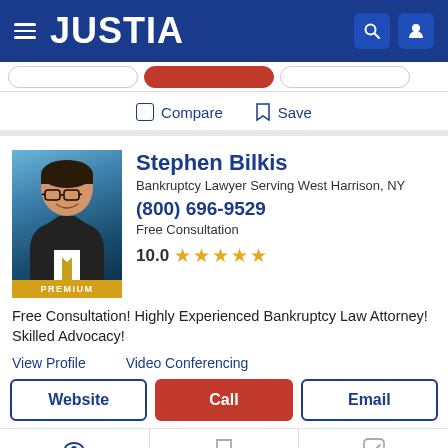JUSTIA
Compare  Save
Stephen Bilkis
Bankruptcy Lawyer Serving West Harrison, NY
(800) 696-9529
Free Consultation
10.0 ★★★★★
Free Consultation! Highly Experienced Bankruptcy Law Attorney! Skilled Advocacy!
View Profile    Video Conferencing
Website  Call  Email
Recent (0)  Saved (0)  Compare (0/3)